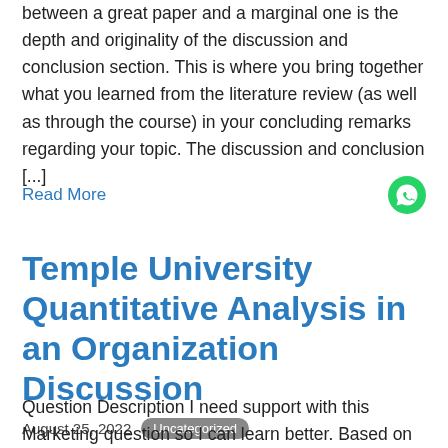between a great paper and a marginal one is the depth and originality of the discussion and conclusion section. This is where you bring together what you learned from the literature review (as well as through the course) in your concluding remarks regarding your topic. The discussion and conclusion [...]
Read More
Temple University Quantitative Analysis in an Organization Discussion
August 25, 2022  Uncategorized
Question Description I need support with this Marketing question so I can learn better. Based on examples from one of the recommended articles selected by you, the lecture